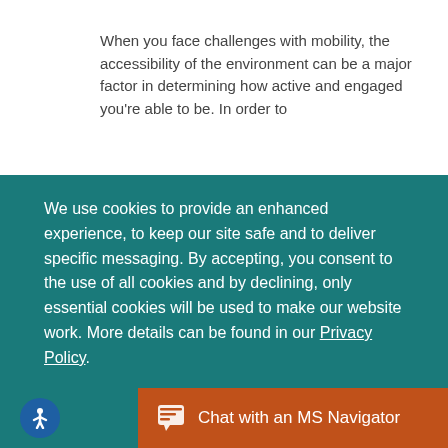When you face challenges with mobility, the accessibility of the environment can be a major factor in determining how active and engaged you're able to be. In order to
We use cookies to provide an enhanced experience, to keep our site safe and to deliver specific messaging. By accepting, you consent to the use of all cookies and by declining, only essential cookies will be used to make our website work. More details can be found in our Privacy Policy.
DECLINE COOKIES
ACCEPT COOKIES
Chat with an MS Navigator